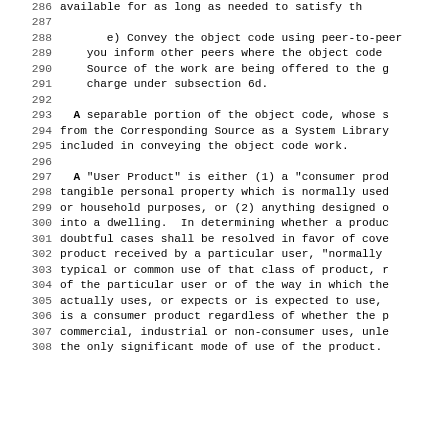286    available for as long as needed to satisfy th
287
288        e) Convey the object code using peer-to-peer
289        you inform other peers where the object code
290        Source of the work are being offered to the g
291        charge under subsection 6d.
292
293      A separable portion of the object code, whose s
294    from the Corresponding Source as a System Library
295    included in conveying the object code work.
296
297      A "User Product" is either (1) a "consumer prod
298    tangible personal property which is normally used
299    or household purposes, or (2) anything designed o
300    into a dwelling.  In determining whether a produc
301    doubtful cases shall be resolved in favor of cove
302    product received by a particular user, "normally
303    typical or common use of that class of product, r
304    of the particular user or of the way in which the
305    actually uses, or expects or is expected to use,
306    is a consumer product regardless of whether the p
307    commercial, industrial or non-consumer uses, unle
308    the only significant mode of use of the product.